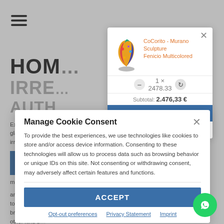[Figure (screenshot): Website background page showing partial text: HOME, IRREPLACEABLE, AUTHENTIC, with product description text about Murano glass, and a blue highlighted section about Murano.]
[Figure (screenshot): Shopping cart popup showing CoCorito - Murano Sculpture Fenicio Multicolored product with quantity selector and subtotal 2,476.33 and checkout button and free delivery notice.]
[Figure (screenshot): Cookie consent popup titled 'Manage Cookie Consent' with body text about cookies, ACCEPT button, and links for Opt-out preferences, Privacy Statement, Imprint.]